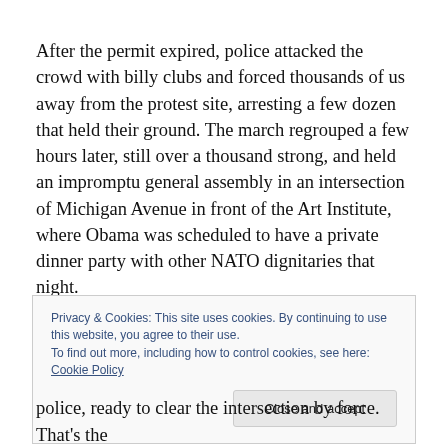After the permit expired, police attacked the crowd with billy clubs and forced thousands of us away from the protest site, arresting a few dozen that held their ground. The march regrouped a few hours later, still over a thousand strong, and held an impromptu general assembly in an intersection of Michigan Avenue in front of the Art Institute, where Obama was scheduled to have a private dinner party with other NATO dignitaries that night.
Privacy & Cookies: This site uses cookies. By continuing to use this website, you agree to their use.
To find out more, including how to control cookies, see here: Cookie Policy
police, ready to clear the intersection by force. That's the